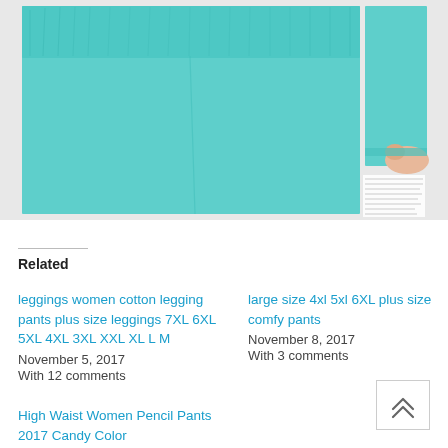[Figure (photo): Two product photos of teal/mint green pants. Left photo shows the waistband with elastic, close-up front view. Right photo shows a close-up of the hem/cuff detail with a hand holding the fabric. Below the right photo is small text (product description). Background is white/light gray.]
Related
leggings women cotton legging pants plus size leggings 7XL 6XL 5XL 4XL 3XL XXL XL L M
November 5, 2017
With 12 comments
large size 4xl 5xl 6XL plus size comfy pants
November 8, 2017
With 3 comments
High Waist Women Pencil Pants 2017 Candy Color